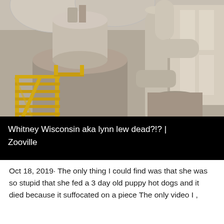[Figure (photo): Industrial machinery inside a large factory or plant — large cylindrical grinding mill with yellow metal staircases and railings, large white pipes and ducts, motors and equipment on the floor, concrete and steel structure visible in background.]
Whitney Wisconsin aka lynn lew dead?!? | Zooville
Oct 18, 2019· The only thing I could find was that she was so stupid that she fed a 3 day old puppy hot dogs and it died because it suffocated on a piece The only video I ,